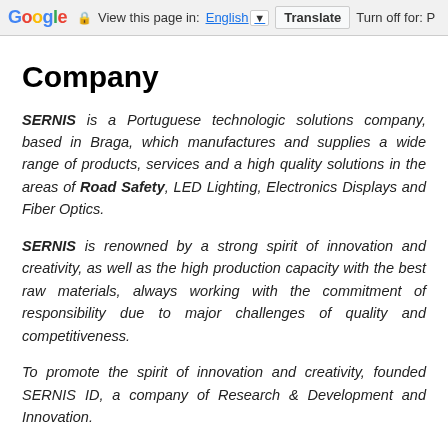Google  View this page in: English  Translate  Turn off for: P
Company
SERNIS is a Portuguese technologic solutions company, based in Braga, which manufactures and supplies a wide range of products, services and a high quality solutions in the areas of Road Safety, LED Lighting, Electronics Displays and Fiber Optics.
SERNIS is renowned by a strong spirit of innovation and creativity, as well as the high production capacity with the best raw materials, always working with the commitment of responsibility due to major challenges of quality and competitiveness.
To promote the spirit of innovation and creativity, founded SERNIS ID, a company of Research & Development and Innovation.